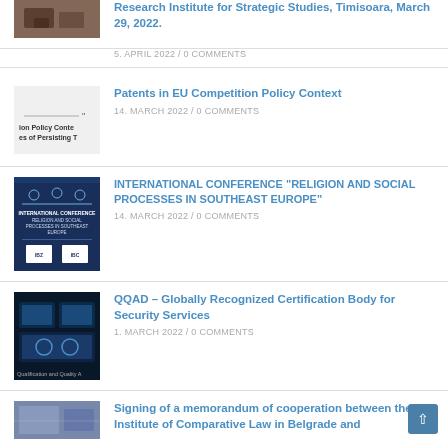[Figure (photo): Partial view of a meeting/signing event photo at top]
Research Institute for Strategic Studies, Timisoara, March 29, 2022.
5. APRIL 2022 /  0 COMMENTS
[Figure (photo): Partial book/document cover thumbnail for Patents article]
Patents in EU Competition Policy Context
14. MARCH 2022 /  0 COMMENTS
[Figure (photo): Conference poster for International Conference on Religion and Social Processes in Southeast Europe]
INTERNATIONAL CONFERENCE “RELIGION AND SOCIAL PROCESSES IN SOUTHEAST EUROPE”
14. MARCH 2022 /  0 COMMENTS
[Figure (photo): Tech/security themed image with screens showing data, labeled Qualification and Quality A...]
QQAD – Globally Recognized Certification Body for Security Services
1. MARCH 2022 /  0 COMMENTS
[Figure (photo): Partial photo of signing ceremony at bottom]
Signing of a memorandum of cooperation between the Institute of Comparative Law in Belgrade and